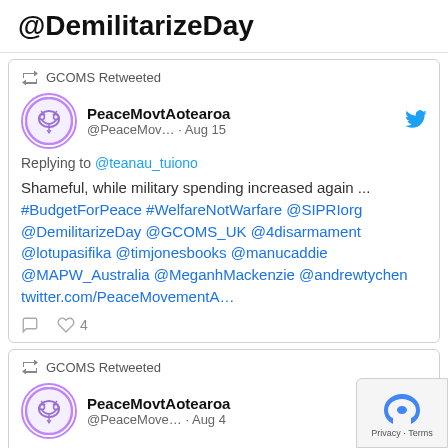@DemilitarizeDay
GCOMS Retweeted
PeaceMovtAotearoa @PeaceMov… · Aug 15
Replying to @teanau_tuiono
Shameful, while military spending increased again ... #BudgetForPeace #WelfareNotWarfare @SIPRIorg @DemilitarizeDay @GCOMS_UK @4disarmament @lotupasifika @timjonesbooks @manucaddie @MAPW_Australia @MeganhMackenzie @andrewtychen twitter.com/PeaceMovementA…
4 likes
GCOMS Retweeted
PeaceMovtAotearoa @PeaceMove… · Aug 4